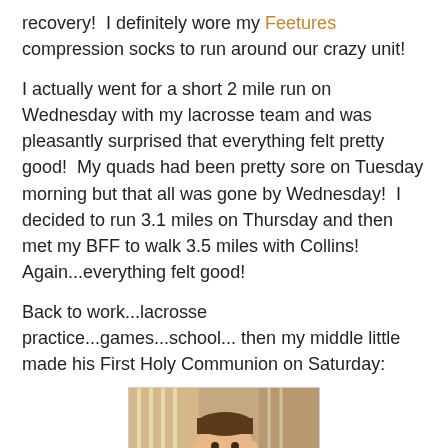recovery!  I definitely wore my Feetures compression socks to run around our crazy unit!
I actually went for a short 2 mile run on Wednesday with my lacrosse team and was pleasantly surprised that everything felt pretty good!  My quads had been pretty sore on Tuesday morning but that all was gone by Wednesday!  I decided to run 3.1 miles on Thursday and then met my BFF to walk 3.5 miles with Collins!  Again...everything felt good!
Back to work...lacrosse practice...games...school... then my middle little made his First Holy Communion on Saturday:
[Figure (photo): A young boy in a navy blue suit with a light blue tie, smiling, standing in front of stairs inside a home.]